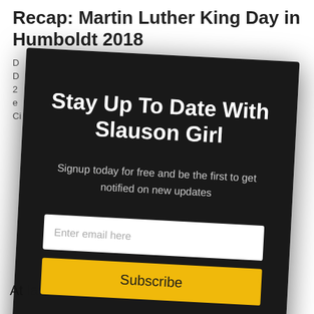Recap: Martin Luther King Day in Humboldt 2018
D
D
2
e
Ci
[Figure (other): Newsletter signup modal overlay on a dark background with title 'Stay Up To Date With Slauson Girl', subtitle 'Signup today for free and be the first to get notified on new updates', an email input field, and a yellow Subscribe button]
At last Monday, the NAACP held their